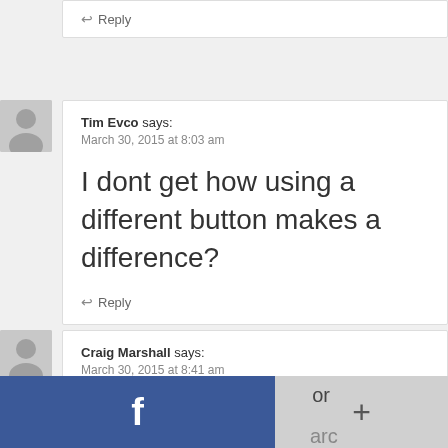↩ Reply
Tim Evco says:
March 30, 2015 at 8:03 am
I dont get how using a different button makes a difference?
↩ Reply
Craig Marshall says:
March 30, 2015 at 8:41 am
[Figure (screenshot): Facebook social share bar overlay at bottom of page with blue Facebook button and gray plus button]